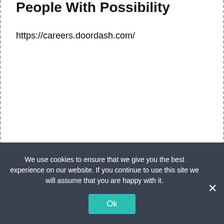People With Possibility
https://careers.doordash.com/
We use cookies to ensure that we give you the best experience on our website. If you continue to use this site we will assume that you are happy with it.